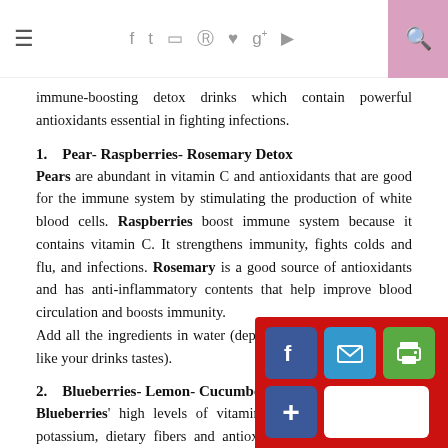≡  f t ▣ ® ♥ g+ ▶  🔍
immune-boosting detox drinks which contain powerful antioxidants essential in fighting infections.
1.   Pear- Raspberries- Rosemary Detox
Pears are abundant in vitamin C and antioxidants that are good for the immune system by stimulating the production of white blood cells. Raspberries boost immune system because it contains vitamin C. It strengthens immunity, fights colds and flu, and infections. Rosemary is a good source of antioxidants and has anti-inflammatory contents that help improve blood circulation and boosts immunity.
Add all the ingredients in water (depending on how would you like your drinks tastes).
2.   Blueberries- Lemon- Cucumber Detox
Blueberries' high levels of vitamins A and C, manganese, potassium, dietary fibers and antioxidant boosts the immune system. Lemon is rich in vitamin C which helps boost the immune system. Cucumber packs vitamins B1, B2, B3, B5, B6, folic acid, C, calcium, iron, magnesium, manganese, beta-carotene, and vitamins K and zinc.
Infused blueberries, lemon and cucumber in water and let it sit for few hours
[Figure (infographic): Social share buttons overlay with red background showing Facebook (blue), email (blue), print (green) buttons in top row, and a plus button (blue) with white box in bottom row.]